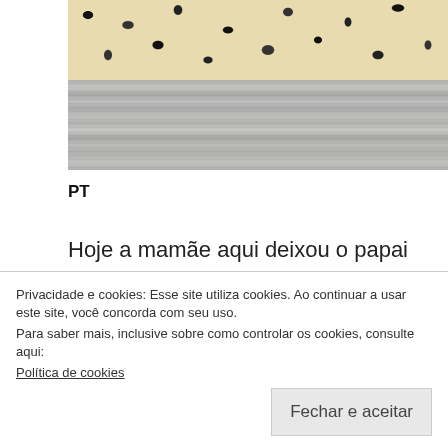[Figure (photo): Photo showing children in leopard print outfits, partially cut off at top. Below them is a gray wood-textured surface.]
PT
Hoje a mamãe aqui deixou o papai cuidar dos meninos no finzinho de tarde e colocar eles pra dormir, pra que
Privacidade e cookies: Esse site utiliza cookies. Ao continuar a usar este site, você concorda com seu uso.
Para saber mais, inclusive sobre como controlar os cookies, consulte aqui:
Política de cookies

Fechar e aceitar